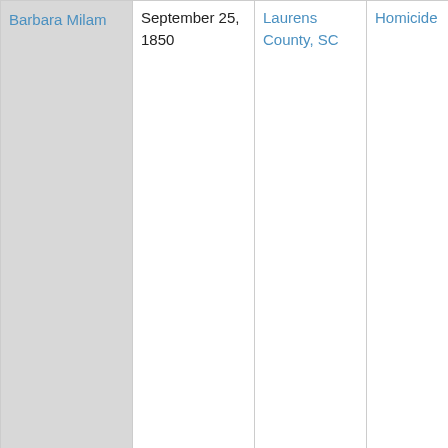| Name | Date | Location | Type | Description |
| --- | --- | --- | --- | --- |
| Barbara Milam | September 25, 1850 | Laurens County, SC | Homicide | upon their oaths do say that She came to her Death by violence inflicted upon her person and by burning, the bruises having been first inflicted. They find the bruises & cuts upon and about the head and face inflicted with an axe or other heavy weapon - from the circumstances they conclude the blows to have been inflicted by the |